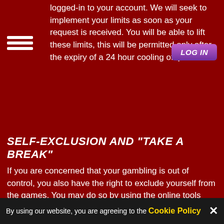logged-in to your account. We will seek to implement your limits as soon as your request is received. You will be able to lift these limits, this will be permitted only after the expiry of a 24 hour cooling off period.
LOG IN
SELF-EXCLUSION AND "TAKE A BREAK"
If you are concerned that your gambling is out of control, you also have the right to exclude yourself from the games. You may do so by using the online tools available or by sending an e-mail to support@junglereels.com with your instructions as to how long you wish the account to be inaccessible. Self-exclusions must be applied for a minimum of 6 months. At the end of the exclusion period, your account will remain closed unless we are notified by yourself to reopen. We will be unable to lift the block on that your exclusion request will occur across all
By using our website, you are agreeing to the Cookie Policy